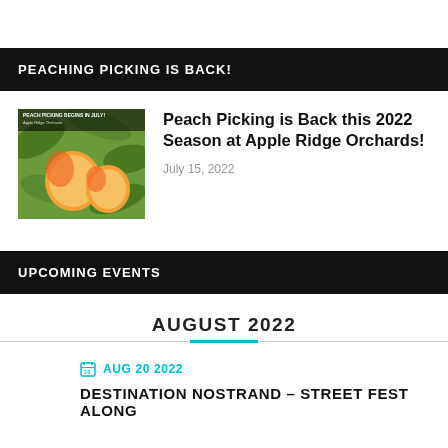PEACHING PICKING IS BACK!
[Figure (photo): Thumbnail image of peaches on tree with text 'PEACH PICKING BEGINS IN JULY!']
Peach Picking is Back this 2022 Season at Apple Ridge Orchards!
July 15, 2022
UPCOMING EVENTS
AUGUST 2022
AUG 20 2022
DESTINATION NOSTRAND – STREET FEST ALONG